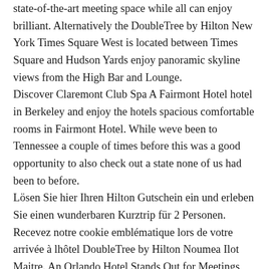state-of-the-art meeting space while all can enjoy brilliant. Alternatively the DoubleTree by Hilton New York Times Square West is located between Times Square and Hudson Yards enjoy panoramic skyline views from the High Bar and Lounge.
Discover Claremont Club Spa A Fairmont Hotel hotel in Berkeley and enjoy the hotels spacious comfortable rooms in Fairmont Hotel. While weve been to Tennessee a couple of times before this was a good opportunity to also check out a state none of us had been to before.
Lösen Sie hier Ihren Hilton Gutschein ein und erleben Sie einen wunderbaren Kurztrip für 2 Personen.
Recevez notre cookie emblématique lors de votre arrivée à lhôtel DoubleTree by Hilton Noumea Ilot Maitre. An Orlando Hotel Stands Out for Meetings Conferences More